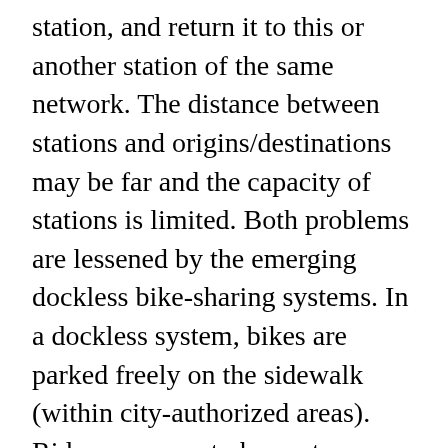station, and return it to this or another station of the same network. The distance between stations and origins/destinations may be far and the capacity of stations is limited. Both problems are lessened by the emerging dockless bike-sharing systems. In a dockless system, bikes are parked freely on the sidewalk (within city-authorized areas). Riders use smart phones to scan the QR code on the bike's smart lock and reset it after finishing the trip. As summarized by an ofo slogan, dockless bikes can be used “anytime and anywhere.”
Our study focuses on ofo and Mobike, the two leading firms in dockless bike-sharing. Both originated in China but are now operating worldwide. As the first dockless system, ofo